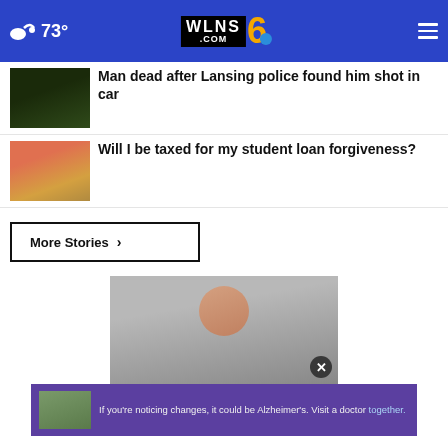WLNS 6 .COM | 73°
Man dead after Lansing police found him shot in car
Will I be taxed for my student loan forgiveness?
More Stories ›
[Figure (photo): Advertisement showing a woman with gray hair and a banner about Alzheimer's awareness]
If you're noticing changes, it could be Alzheimer's. Visit a doctor together.